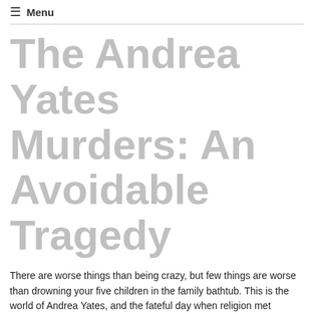☰ Menu
The Andrea Yates Murders: An Avoidable Tragedy
There are worse things than being crazy, but few things are worse than drowning your five children in the family bathtub. This is the world of Andrea Yates, and the fateful day when religion met madness.
It was a crime that rivaled even the 9/11 tragedy for news headlines. On June 20, 2001, Andrea filled the family bathtub with cold water, and